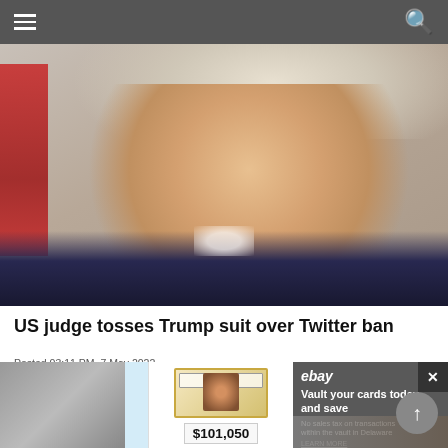Navigation bar with hamburger menu and search icon
[Figure (photo): Close-up portrait photo of Donald Trump looking stern, wearing a dark suit with white collar, against a light background with red elements on the left side]
US judge tosses Trump suit over Twitter ban
Posted 03:11 PM, 7 May 2022
[Figure (infographic): eBay advertisement overlay with three panels: left panel with eBay logo on light blue background, middle panel showing a graded baseball card priced at $101,050, right panel with dark background saying 'Vault your cards today and save' with eBay branding. A close button (X) appears at top right and a scroll-up button at bottom right.]